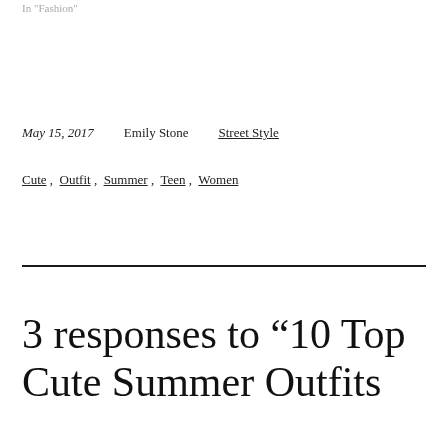In "Fashion"
May 15, 2017    Emily Stone    Street Style
Cute , Outfit , Summer , Teen , Women
3 responses to “10 Top Cute Summer Outfits